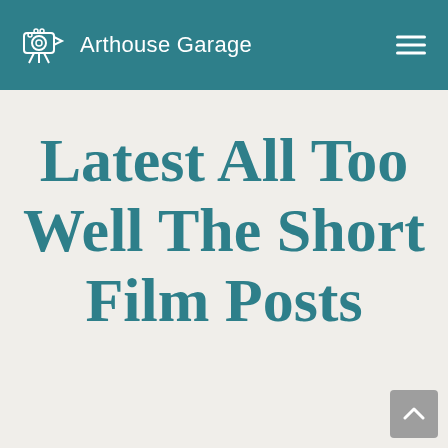Arthouse Garage
Latest All Too Well The Short Film Posts